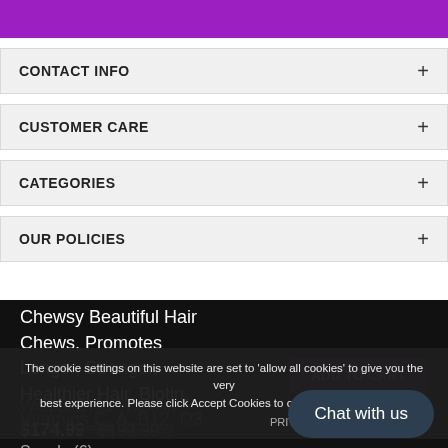[Figure (other): Purple decorative header bar at top of page]
CONTACT INFO +
CUSTOMER CARE +
CATEGORIES +
OUR POLICIES +
Chewsy Beautiful Hair Chews, Promotes Longer, Stronger, Healthier Hair, Biotin, Vitamins C, A, B12, D3, ... Wrapped Hair Vitamin Fruity Chews, 30-Day Supply (6)
$174.99  $192.99
ADD TO CART
The cookie settings on this website are set to 'allow all cookies' to give you the very best experience. Please click Accept Cookies to continue to use the site.
PRIVACY POLICY   ACCEPT ✓
Chat with us